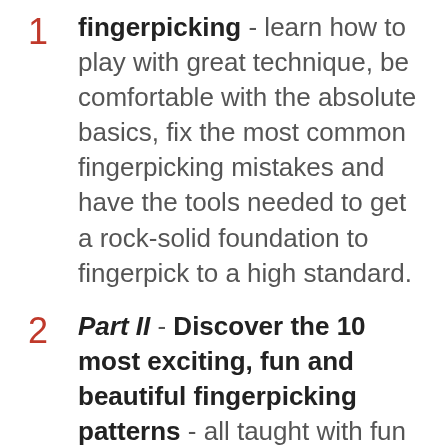Part I - Learn the fundamentals of fingerpicking - learn how to play with great technique, be comfortable with the absolute basics, fix the most common fingerpicking mistakes and have the tools needed to get a rock-solid foundation to fingerpick to a high standard.
Part II - Discover the 10 most exciting, fun and beautiful fingerpicking patterns - all taught with fun examples and all starting off in a super simple way and then getting progressively harder. This